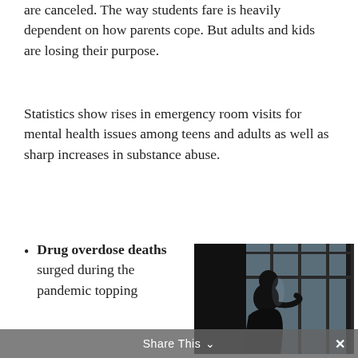are canceled. The way students fare is heavily dependent on how parents cope. But adults and kids are losing their purpose.
Statistics show rises in emergency room visits for mental health issues among teens and adults as well as sharp increases in substance abuse.
Drug overdose deaths surged during the pandemic topping
[Figure (photo): A person in silhouette standing near a window with vertical blinds, looking outside. The image is dark with backlighting from the window.]
Share This  ∨   ✕